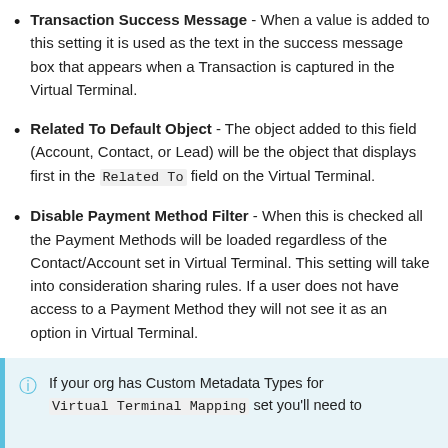Transaction Success Message - When a value is added to this setting it is used as the text in the success message box that appears when a Transaction is captured in the Virtual Terminal.
Related To Default Object - The object added to this field (Account, Contact, or Lead) will be the object that displays first in the Related To field on the Virtual Terminal.
Disable Payment Method Filter - When this is checked all the Payment Methods will be loaded regardless of the Contact/Account set in Virtual Terminal. This setting will take into consideration sharing rules. If a user does not have access to a Payment Method they will not see it as an option in Virtual Terminal.
If your org has Custom Metadata Types for Virtual Terminal Mapping set you'll need to